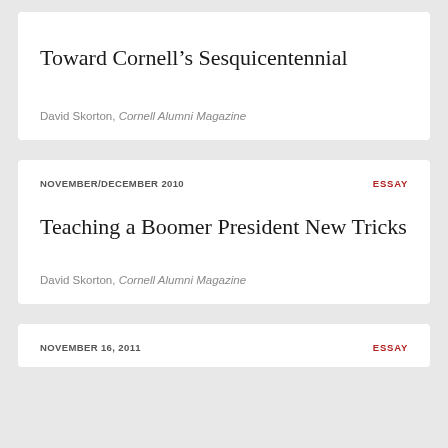Toward Cornell's Sesquicentennial
David Skorton, Cornell Alumni Magazine
NOVEMBER/DECEMBER 2010
ESSAY
Teaching a Boomer President New Tricks
David Skorton, Cornell Alumni Magazine
NOVEMBER 16, 2011
ESSAY